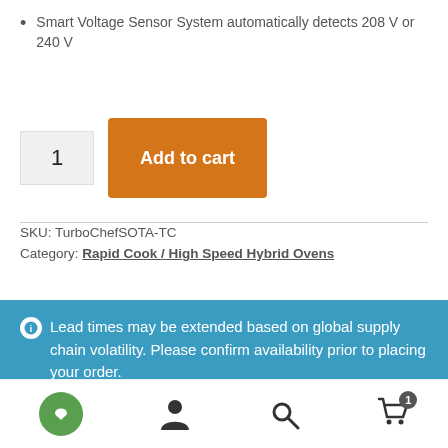Smart Voltage Sensor System automatically detects 208 V or 240 V
1  Add to cart
SKU: TurboChefSOTA-TC
Category: Rapid Cook / High Speed Hybrid Ovens
Lead times may be extended based on global supply chain volatility. Please confirm availability prior to placing your order.
Dismiss